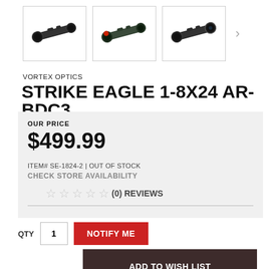[Figure (photo): Three thumbnail images of the Vortex Optics Strike Eagle 1-8x24 rifle scope shown from slightly different angles, each in a bordered box. A right-arrow chevron is visible to the right.]
VORTEX OPTICS
STRIKE EAGLE 1-8X24 AR-BDC3
OUR PRICE
$499.99
ITEM# SE-1824-2 | OUT OF STOCK
CHECK STORE AVAILABILITY
☆☆☆☆☆ (0) REVIEWS
QTY
NOTIFY ME
ADD TO WISH LIST